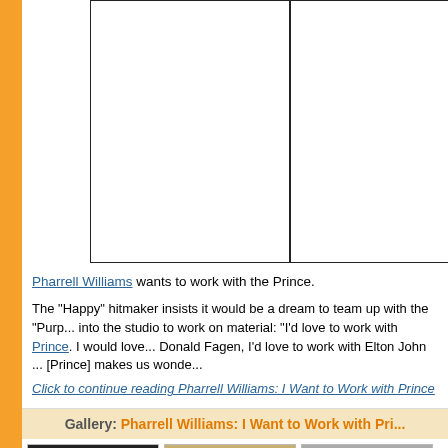[Figure (photo): Two white/empty image placeholder boxes side by side at top of article]
Pharrell Williams wants to work with the Prince.
The "Happy" hitmaker insists it would be a dream to team up with the "Purp... into the studio to work on material: "I'd love to work with Prince. I would love... Donald Fagen, I'd love to work with Elton John ... [Prince] makes us wonde...
Click to continue reading Pharrell Williams: I Want to Work with Prince
Gallery: Pharrell Williams: I Want to Work with Pri...
[Figure (photo): Gallery thumbnail images of Pharrell Williams article]